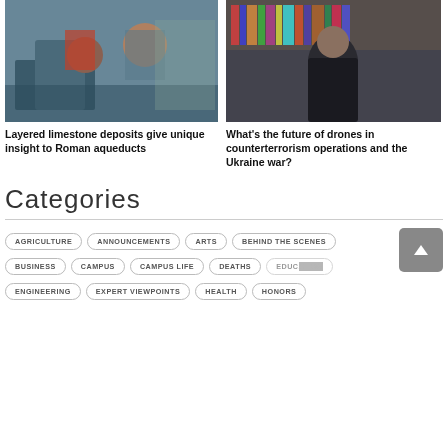[Figure (photo): Three people gathered around scientific equipment in a lab setting]
[Figure (photo): Man in dark shirt standing in front of bookshelves]
Layered limestone deposits give unique insight to Roman aqueducts
What's the future of drones in counterterrorism operations and the Ukraine war?
Categories
AGRICULTURE
ANNOUNCEMENTS
ARTS
BEHIND THE SCENES
BUSINESS
CAMPUS
CAMPUS LIFE
DEATHS
EDUCATION
ENGINEERING
EXPERT VIEWPOINTS
HEALTH
HONORS